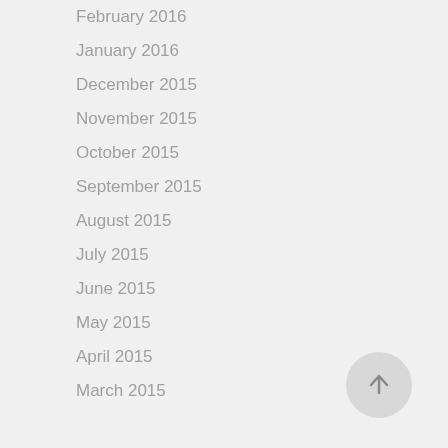February 2016
January 2016
December 2015
November 2015
October 2015
September 2015
August 2015
July 2015
June 2015
May 2015
April 2015
March 2015
[Figure (other): Circular scroll-to-top button with upward arrow]